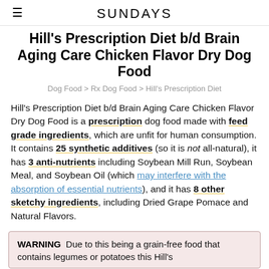SUNDAYS
Hill's Prescription Diet b/d Brain Aging Care Chicken Flavor Dry Dog Food
Dog Food > Rx Dog Food > Hill's Prescription Diet
Hill's Prescription Diet b/d Brain Aging Care Chicken Flavor Dry Dog Food is a prescription dog food made with feed grade ingredients, which are unfit for human consumption. It contains 25 synthetic additives (so it is not all-natural), it has 3 anti-nutrients including Soybean Mill Run, Soybean Meal, and Soybean Oil (which may interfere with the absorption of essential nutrients), and it has 8 other sketchy ingredients, including Dried Grape Pomace and Natural Flavors.
WARNING  Due to this being a grain-free food that contains legumes or potatoes this Hill's...